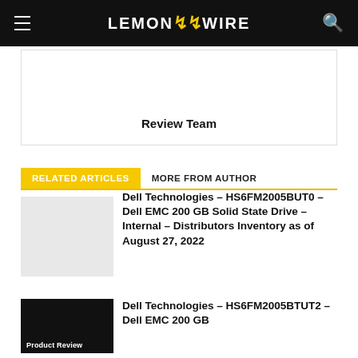LEMON WIRE
[Figure (other): Author card box with 'Review Team' label]
Review Team
RELATED ARTICLES   MORE FROM AUTHOR
[Figure (photo): Light gray placeholder image for article 1]
Dell Technologies – HS6FM2005BUT0 – Dell EMC 200 GB Solid State Drive – Internal – Distributors Inventory as of August 27, 2022
[Figure (other): Dark thumbnail with Product Review badge]
Dell Technologies – HS6FM2005BTUT2 – Dell EMC 200 GB